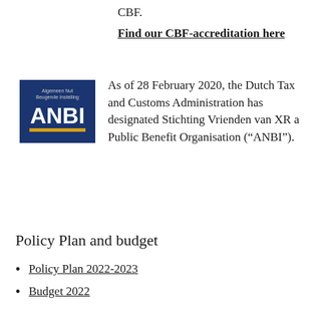CBF.
Find our CBF-accreditation here
[Figure (logo): ANBI logo — dark blue square background with text 'Algemeen Nut Beogende Instelling' at top and 'ANBI' in large white letters with a yellow underline bar]
As of 28 February 2020, the Dutch Tax and Customs Administration has designated Stichting Vrienden van XR a Public Benefit Organisation (“ANBI”).
Policy Plan and budget
Policy Plan 2022-2023
Budget 2022